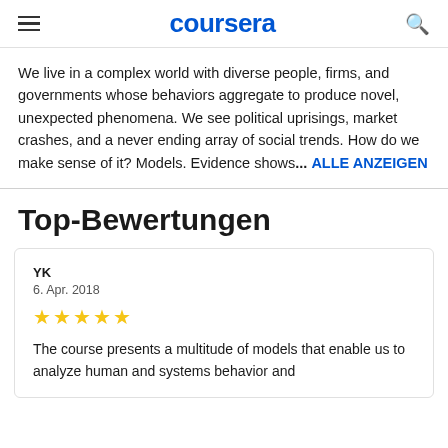coursera
We live in a complex world with diverse people, firms, and governments whose behaviors aggregate to produce novel, unexpected phenomena. We see political uprisings, market crashes, and a never ending array of social trends. How do we make sense of it? Models. Evidence shows... ALLE ANZEIGEN
Top-Bewertungen
YK
6. Apr. 2018
★★★★★
The course presents a multitude of models that enable us to analyze human and systems behavior and